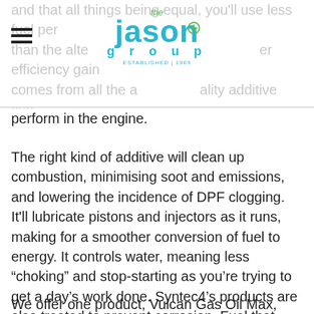the jason group ESTABLISHED 1969
and that all things being equal, you'll use less fuel per than the alternative. The efficiency gain comes from all the additives, quality additive can perform in the engine.
The right kind of additive will clean up combustion, minimising soot and emissions, and lowering the incidence of DPF clogging. It'll lubricate pistons and injectors as it runs, making for a smoother conversion of fuel to energy. It controls water, meaning less “choking” and stop-starting as you’re trying to get a day’s work done. Syntec4’s products are also treated to prevent corrosion. Fuel that runs in a clean engine, all statistics show, is fuel that offers a higher rate of conversion from money spent to active work.
We offer one product, Vulcan Gas Oil Max, that gives up to a 6% efficiency boost from its combustion catalyst alone. That’s a boost of three to 10%, but it’s